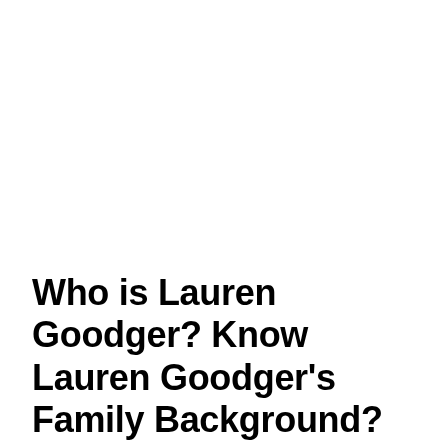Who is Lauren Goodger? Know Lauren Goodger's Family Background?
Born in the year 1986 in Hackney, London, Lauren Rose Goodger is a reality star, singer, model,